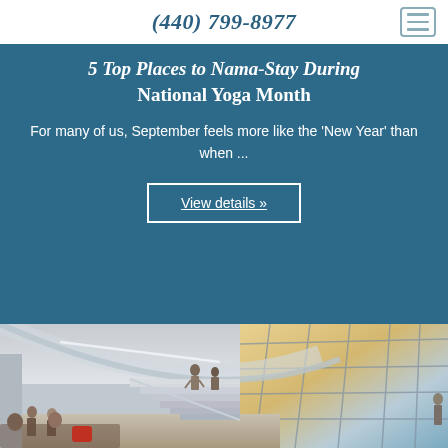(440) 799-8977
5 Top Places to Nama-Stay During National Yoga Month
For many of us, September feels more like the 'New Year' than when ...
View details »
[Figure (photo): Modern building interior with large glass facade showing sky/clouds, curved architectural elements, staircase with glass railings, and people walking or sitting in a lobby/atrium area]